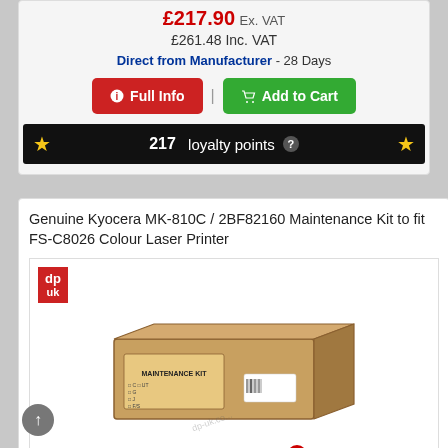£217.90 Ex. VAT
£261.48 Inc. VAT
Direct from Manufacturer - 28 Days
Full Info | Add to Cart
217 loyalty points
Genuine Kyocera MK-810C / 2BF82160 Maintenance Kit to fit FS-C8026 Colour Laser Printer
[Figure (photo): Product image of Kyocera MK-810C Maintenance Kit box with DPUK logo and Kyocera branding]